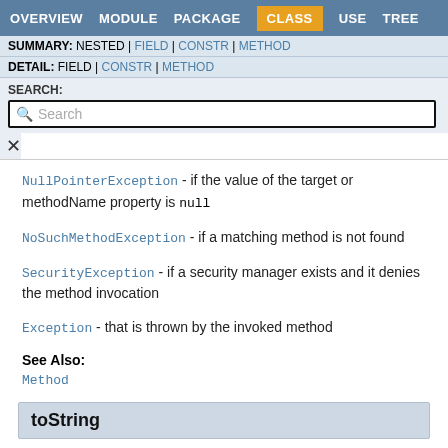OVERVIEW  MODULE  PACKAGE  CLASS  USE  TREE
SUMMARY: NESTED | FIELD | CONSTR | METHOD
DETAIL: FIELD | CONSTR | METHOD
SEARCH:
Search
NullPointerException - if the value of the target or methodName property is null
NoSuchMethodException - if a matching method is not found
SecurityException - if a security manager exists and it denies the method invocation
Exception - that is thrown by the invoked method
See Also:
Method
toString